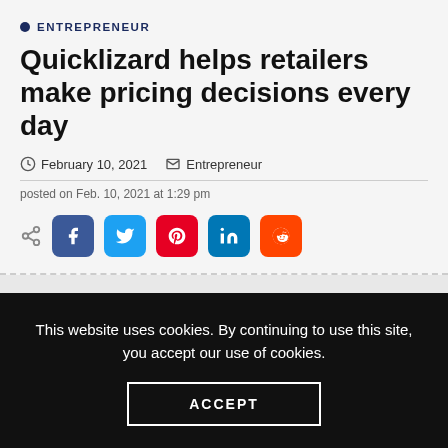ENTREPRENEUR
Quicklizard helps retailers make pricing decisions every day
February 10, 2021  Entrepreneur
posted on Feb. 10, 2021 at 1:29 pm
[Figure (other): Social share buttons: share icon, Facebook, Twitter, Pinterest, LinkedIn, Reddit]
This website uses cookies. By continuing to use this site, you accept our use of cookies.
ACCEPT